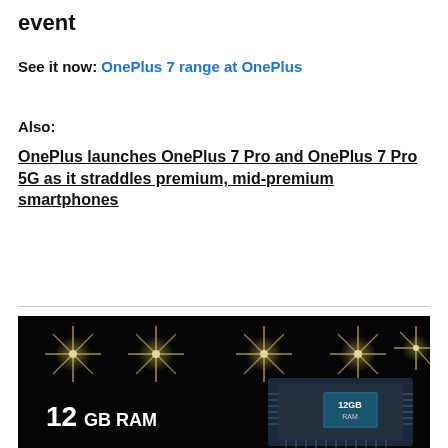event
See it now: OnePlus 7 range at OnePlus
Also:
OnePlus launches OnePlus 7 Pro and OnePlus 7 Pro 5G as it straddles premium, mid-premium smartphones
[Figure (photo): Dark stage event photo showing stage lights and a chip display reading '12 GB RAM' with a presenter visible at the bottom]